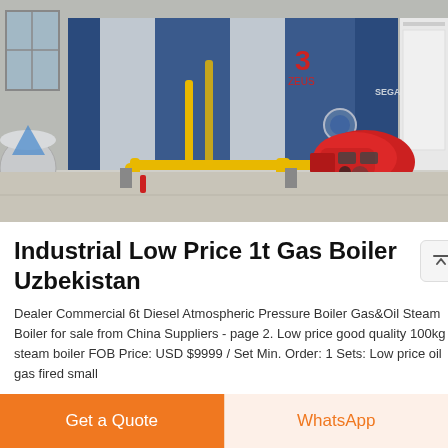[Figure (photo): Industrial gas boiler unit with blue metal casing and red burner attachment, yellow gas piping, installed in a factory/warehouse environment. A red logo mark is visible on the side of the boiler.]
Industrial Low Price 1t Gas Boiler Uzbekistan
Dealer Commercial 6t Diesel Atmospheric Pressure Boiler Gas&Oil Steam Boiler for sale from China Suppliers - page 2. Low price good quality 100kg steam boiler FOB Price: USD $9999 / Set Min. Order: 1 Sets: Low price oil gas fired small
Get a Quote
WhatsApp